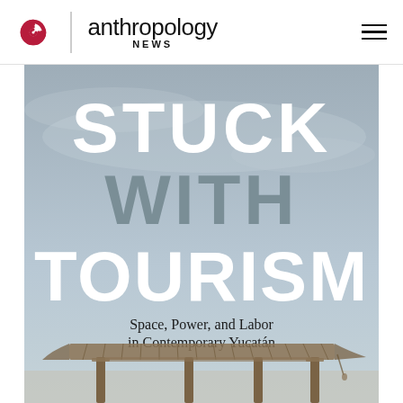anthropology NEWS
[Figure (illustration): Book cover for 'Stuck With Tourism: Space, Power, and Labor in Contemporary Yucatán'. Gray-blue sky background with bold white text 'STUCK' and 'TOURISM', gray text 'WITH', subtitle in black serif text, and a rustic wooden pergola structure at the bottom.]